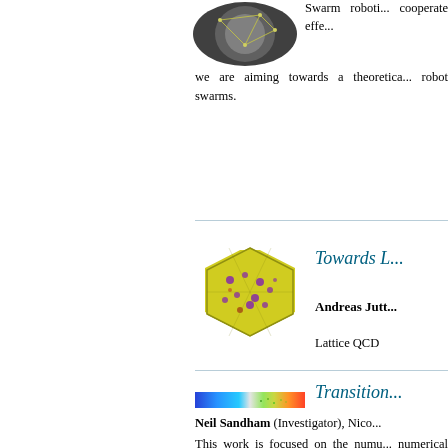[Figure (photo): A dark circular image showing a swarm robotics visualization with yellow nodes and connecting lines on a dark background]
Swarm roboti... cooperate effe... we are aiming towards a theoretica... robot swarms.
[Figure (photo): A hexagonal cluster of yellow and purple particles representing a Lattice QCD visualization]
Towards L...
Andreas Jutt...
Lattice QCD
[Figure (photo): A horizontal color gradient strip from blue to red representing flow transition data]
Transition...
Neil Sandham (Investigator), Nico...
This work is focused on the numu... numerical simulations of the Na... disturbances on the transition proce... at high speeds, which can lead to th...